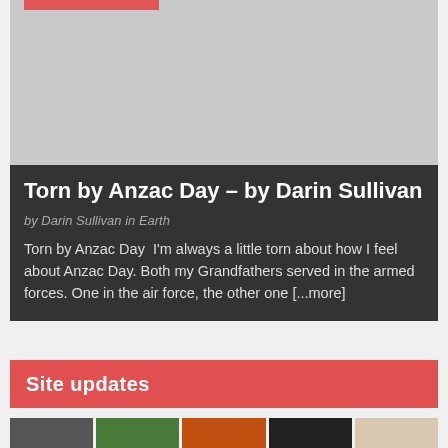[Figure (photo): Card image placeholder with a red accent bar at top]
Torn by Anzac Day – by Darin Sullivan
by Darin Sullivan in Earth
Torn by Anzac Day  I'm always a little torn about how I feel about Anzac Day. Both my Grandfathers served in the armed forces. One in the air force, the other one [...more]
Site updates
[Figure (photo): Row of five thumbnail images]